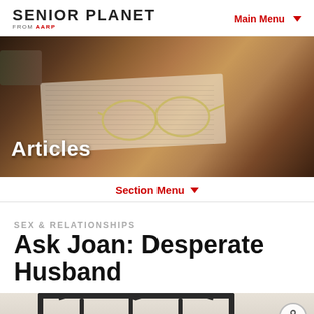SENIOR PLANET FROM AARP | Main Menu
[Figure (photo): Hero banner photo showing a person's hands near a newspaper with eyeglasses resting on it, on a wooden table. 'Articles' text overlaid in white bold font.]
Section Menu
SEX & RELATIONSHIPS
Ask Joan: Desperate Husband
[Figure (photo): Partial view of a black metal bed headboard/frame at the bottom of the page, on a light neutral background.]